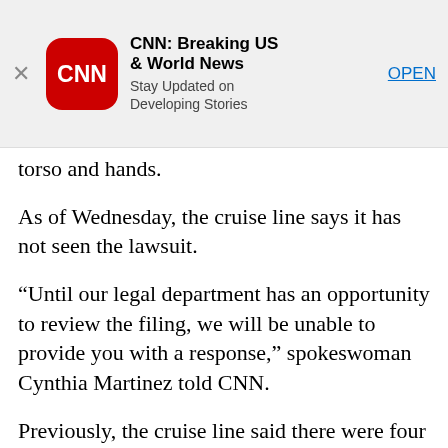[Figure (screenshot): CNN app advertisement banner with red rounded square logo, bold app name 'CNN: Breaking US & World News', subtitle 'Stay Updated on Developing Stories', and blue OPEN button]
torso and hands.
As of Wednesday, the cruise line says it has not seen the lawsuit.
“Until our legal department has an opportunity to review the filing, we will be unable to provide you with a response,” spokeswoman Cynthia Martinez told CNN.
Previously, the cruise line said there were four minor injuries during the voyage, which was cut short after four days of a planned seven-day excursion from New Jersey to the Bahamas.
The cruise line has said the storm the ship